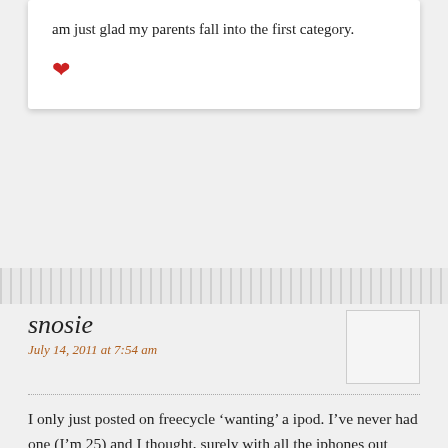am just glad my parents fall into the first category.
♥
snosie
July 14, 2011 at 7:54 am
I only just posted on freecycle 'wanting' a ipod. I've never had one (I'm 25) and I thought, surely with all the iphones out there now, someone isn't using their ipod. Sadly, no responses 🙁
On your observations – I couldn't agree more!
♥